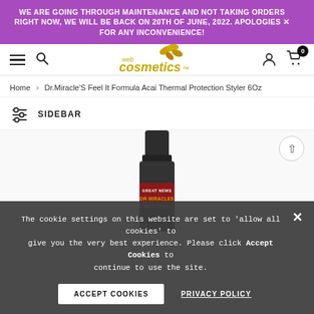WE ARE GOING THROUGH MAINTENANCE AND NOT TAKING ORDERS RIGHT NOW, WE WILL BE BACK ON 20TH OF JUNE, 2022. APOLOGIES FOR ANY INCONVENIENCE!
[Figure (logo): Web Cosmetics logo with golden text and leaf graphic]
Home > Dr.Miracle'S Feel It Formula Acai Thermal Protection Styler 6Oz
SIDEBAR
[Figure (photo): Product bottle - Dr. Miracles Feel It Formula Acai Thermal Protection Styler 6Oz, dark bottle with red label showing GREAT NEWS and DR MIRACLES text]
The cookie settings on this website are set to 'allow all cookies' to give you the very best experience. Please click Accept Cookies to continue to use the site.
ACCEPT COOKIES
PRIVACY POLICY